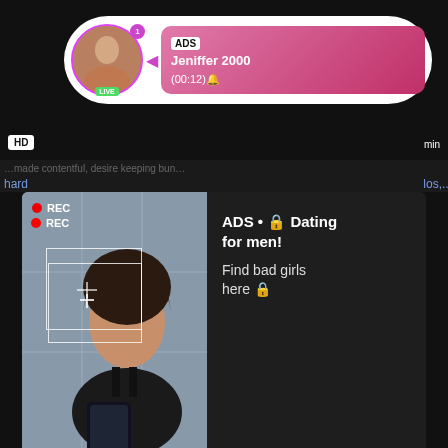[Figure (screenshot): Top video thumbnail area with HD badge and time indicator, overlaid by a white pill-shaped notification popup containing a profile avatar with pink circle border and LIVE badge, notification count, pink arrow, and a pink gradient box showing ADS label, username Jeniffer 2000, and timestamp (00:12)]
HD
min
ADS
Jeniffer 2000
(00:12)🔔
LIVE
hard…
los,...
[Figure (screenshot): Large dark video ad card showing a photo of a young woman taking a mirror selfie with a phone, overlaid with REC badge (red dot), white viewfinder rectangle with crosshair, and corner bracket. Right side shows white text: ADS • 🔒 Dating for men! Find bad girls here 🔒]
REC
ADS • 🔒 Dating for men! Find bad girls here 🔒
HD
6 min
Lez Eurobabe Fisted Lesbian European Lesbians
lesbian, european, lesbians, babe, pussylicking, toys, feti